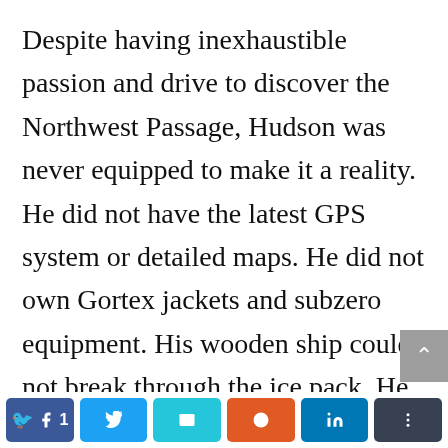Despite having inexhaustible passion and drive to discover the Northwest Passage, Hudson was never equipped to make it a reality. He did not have the latest GPS system or detailed maps. He did not own Gortex jackets and subzero equipment. His wooden ship could not break through the ice pack. He was ill-equipped to accomplish the task he so desperately
Facebook 1 | Twitter | Email | Reddit | LinkedIn | Share